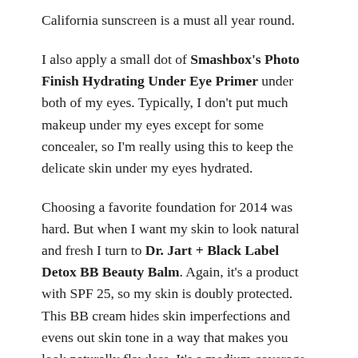California sunscreen is a must all year round.
I also apply a small dot of Smashbox's Photo Finish Hydrating Under Eye Primer under both of my eyes. Typically, I don't put much makeup under my eyes except for some concealer, so I'm really using this to keep the delicate skin under my eyes hydrated.
Choosing a favorite foundation for 2014 was hard. But when I want my skin to look natural and fresh I turn to Dr. Jart + Black Label Detox BB Beauty Balm. Again, it's a product with SPF 25, so my skin is doubly protected. This BB cream hides skin imperfections and evens out skin tone in a way that makes you look naturally flawless. It's a medium coverage product and I find that it lasts all day. It doesn't crease or cake up on me either. You really don't need much to cover your whole face so